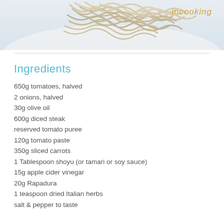[Figure (photo): Close-up photo of pale/cream colored noodles piled on a white plate, partially visible from top of page. Cursive yellow text reads 'in_cooking' in top right area.]
Ingredients
650g tomatoes, halved
2 onions, halved
30g olive oil
600g diced steak
reserved tomato puree
120g tomato paste
350g sliced carrots
1 Tablespoon shoyu (or tamari or soy sauce)
15g apple cider vinegar
20g Rapadura
1 teaspoon dried Italian herbs
salt & pepper to taste